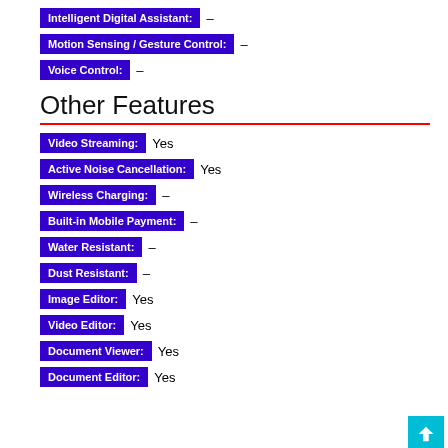Intelligent Digital Assistant: –
Motion Sensing / Gesture Control: –
Voice Control: –
Other Features
Video Streaming: Yes
Active Noise Cancellation: Yes
Wireless Charging: –
Built-in Mobile Payment: –
Water Resistant: –
Dust Resistant: –
Image Editor: Yes
Video Editor: Yes
Document Viewer: Yes
Document Editor: Yes